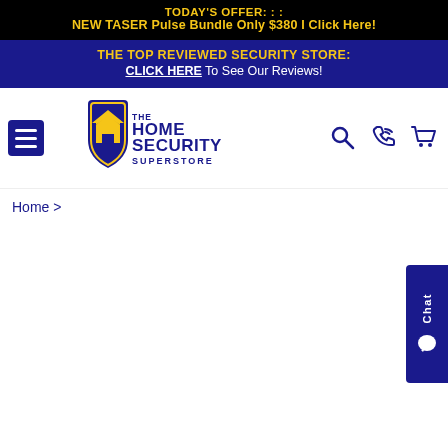TODAY'S OFFER: : : NEW TASER Pulse Bundle Only $380 I Click Here!
THE TOP REVIEWED SECURITY STORE: CLICK HERE To See Our Reviews!
[Figure (logo): The Home Security Superstore logo: blue shield with gold house icon, text THE HOME SECURITY SUPERSTORE]
Home >